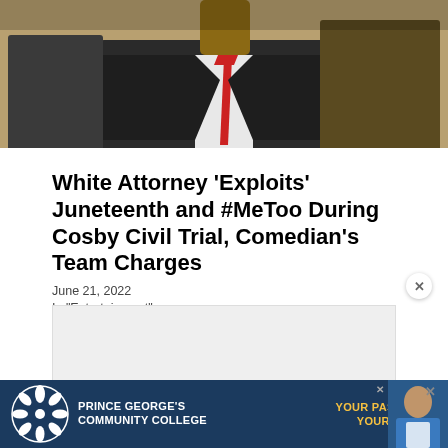[Figure (photo): Cropped photo of a man in a dark suit with red tie, photographed from chest up, with another person partially visible behind him]
White Attorney ‘Exploits’ Juneteenth and #MeToo During Cosby Civil Trial, Comedian’s Team Charges
June 21, 2022
In “Entertainment”
[Figure (other): Light gray rectangular advertisement placeholder area]
[Figure (other): Prince George's Community College banner advertisement: dark navy background with white snowflake/gear logo, college name in white, and tagline YOUR PASSION. YOUR PATH. in gold/yellow text]